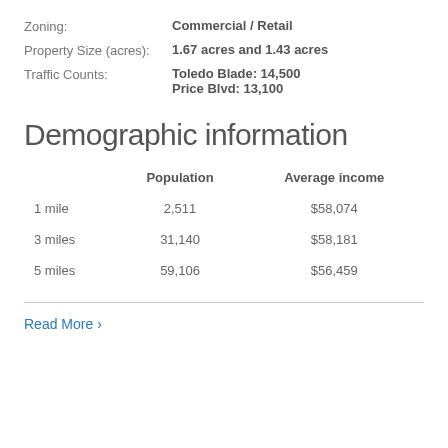Zoning: Commercial / Retail
Property Size (acres): 1.67 acres and 1.43 acres
Traffic Counts: Toledo Blade: 14,500
Price Blvd: 13,100
Demographic information
|  | Population | Average income |
| --- | --- | --- |
| 1 mile | 2,511 | $58,074 |
| 3 miles | 31,140 | $58,181 |
| 5 miles | 59,106 | $56,459 |
Read More ›